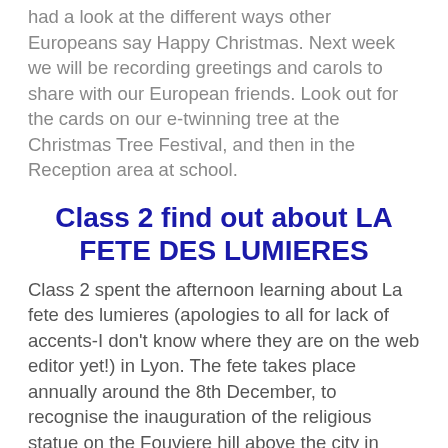had a look at the different ways other Europeans say Happy Christmas. Next week we will be recording greetings and carols to share with our European friends. Look out for the cards on our e-twinning tree at the Christmas Tree Festival, and then in the Reception area at school.
Class 2 find out about LA FETE DES LUMIERES
Class 2 spent the afternoon learning about La fete des lumieres (apologies to all for lack of accents-I don't know where they are on the web editor yet!) in Lyon. The fete takes place annually around the 8th December, to recognise the inauguration of the religious statue on the Fouviere hill above the city in 1852. The children looked at and discussed some of the amazing light displays that have been seen over the last few years and made a decorated night light jar,